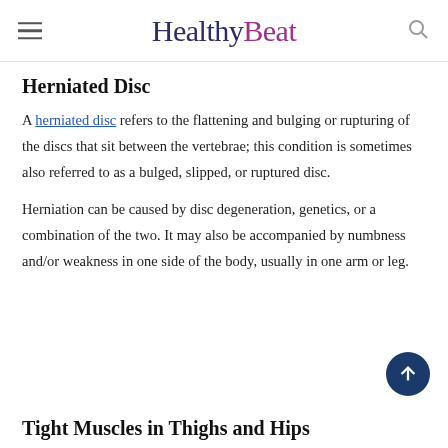HealthyBeat
Herniated Disc
A herniated disc refers to the flattening and bulging or rupturing of the discs that sit between the vertebrae; this condition is sometimes also referred to as a bulged, slipped, or ruptured disc.
Herniation can be caused by disc degeneration, genetics, or a combination of the two. It may also be accompanied by numbness and/or weakness in one side of the body, usually in one arm or leg.
Tight Muscles in Thighs and Hips